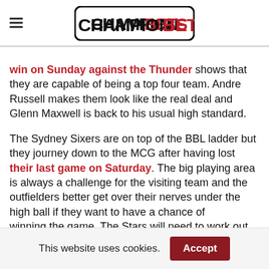CHAMPION BETS
win on Sunday against the Thunder shows that they are capable of being a top four team. Andre Russell makes them look like the real deal and Glenn Maxwell is back to his usual high standard.
The Sydney Sixers are on top of the BBL ladder but they journey down to the MCG after having lost their last game on Saturday. The big playing area is always a challenge for the visiting team and the outfielders better get over their nerves under the high ball if they want to have a chance of winning the game. The Stars will need to work out
This website uses cookies.  Accept